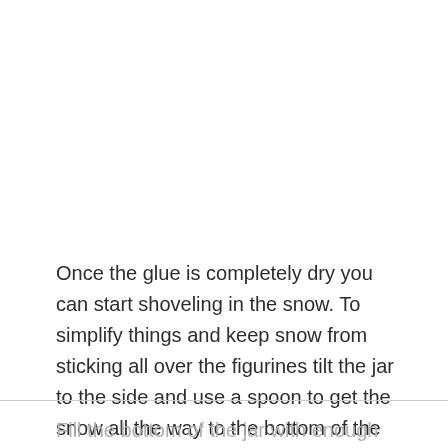Once the glue is completely dry you can start shoveling in the snow. To simplify things and keep snow from sticking all over the figurines tilt the jar to the side and use a spoon to get the snow all the way to the bottom of the jar.
Fill the bottom of the jar with enough snow to